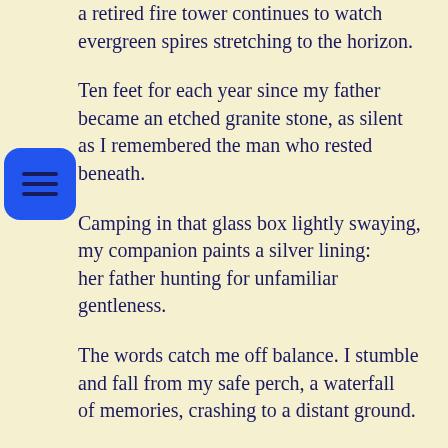a retired fire tower continues to watch evergreen spires stretching to the horizon.
Ten feet for each year since my father became an etched granite stone, as silent as I remembered the man who rested beneath.
Camping in that glass box lightly swaying, my companion paints a silver lining: her father hunting for unfamiliar gentleness.
The words catch me off balance. I stumble and fall from my safe perch, a waterfall of memories, crashing to a distant ground.
My father snatching me from drowning. My father steadying my first bicycle, or unrolling a huge roll of plastic that became